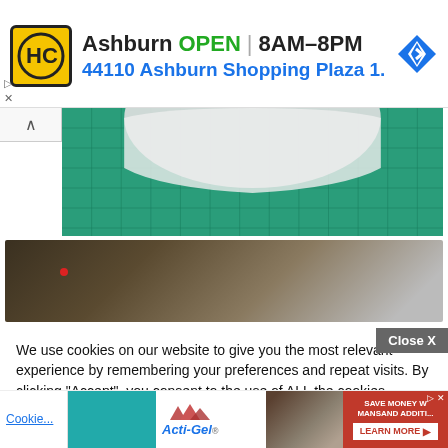[Figure (other): Advertisement banner: HC logo on yellow background, text 'Ashburn OPEN 8AM-8PM 44110 Ashburn Shopping Plaza 1.' with blue navigation diamond icon]
[Figure (photo): Photo of white rounded object on green cutting mat grid background]
[Figure (photo): Photo of blurry dark surface with small red light]
We use cookies on our website to give you the most relevant experience by remembering your preferences and repeat visits. By clicking “Accept”, you consent to the use of ALL the cookies.
Do not sell my personal information.
Close X
[Figure (other): Bottom advertisement for Acti-Gel with mountain logo and 'SAVE MONEY W... MANSAND ADDITIVE LEARN MORE' button on red background]